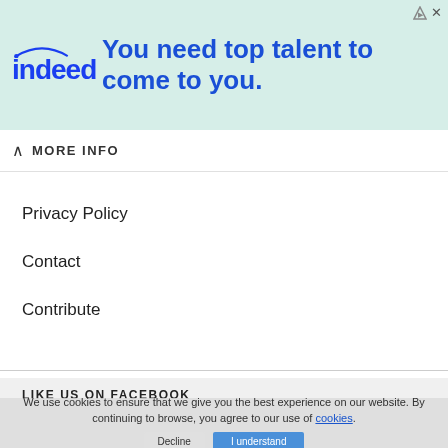[Figure (illustration): Indeed advertisement banner with teal/mint background showing the Indeed logo (blue arc over 'indeed' text) and headline 'You need top talent to come to you.' with ad close controls in top-right corner.]
MORE INFO
Privacy Policy
Contact
Contribute
LIKE US ON FACEBOOK
We use cookies to ensure that we give you the best experience on our website. By continuing to browse, you agree to our use of cookies.